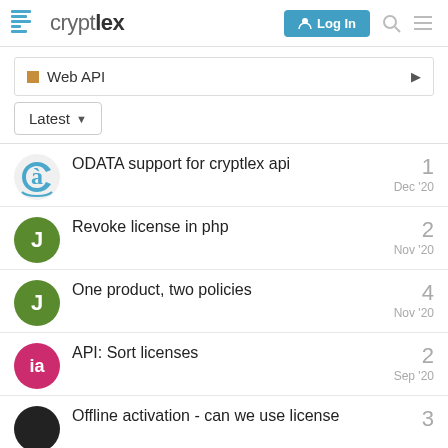cryptlex — Log In
Web API
Latest
ODATA support for cryptlex api — 1 — Dec '20
Revoke license in php — 2 — Nov '20
One product, two policies — 4 — Nov '20
API: Sort licenses — 2 — Sep '20
Offline activation - can we use license — 3